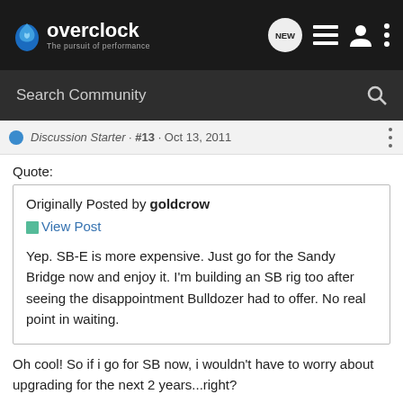overclock — The pursuit of performance
Search Community
Discussion Starter · #13 · Oct 13, 2011
Quote:
Originally Posted by goldcrow
View Post
Yep. SB-E is more expensive. Just go for the Sandy Bridge now and enjoy it. I'm building an SB rig too after seeing the disappointment Bulldozer had to offer. No real point in waiting.
Oh cool! So if i go for SB now, i wouldn't have to worry about upgrading for the next 2 years...right?